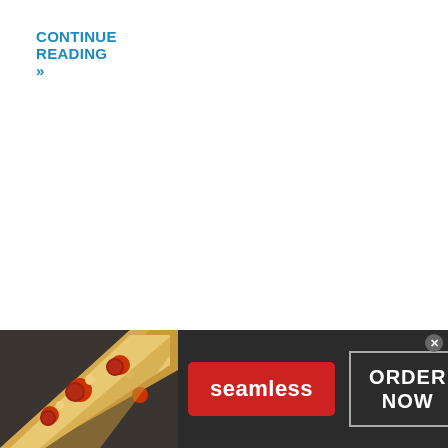CONTINUE READING »
[Figure (other): Seamless food delivery advertisement banner showing pizza slices on the left, a red 'seamless' logo button in the center, and an 'ORDER NOW' button on the right, with a close/dismiss X button in the upper right corner. Dark background.]